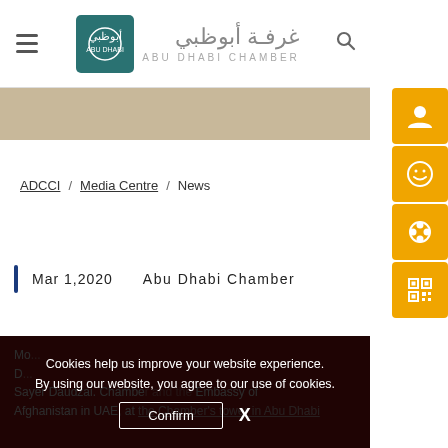Abu Dhabi Chamber — Navigation header with logo, hamburger menu, and search icon
[Figure (logo): Abu Dhabi Chamber logo with teal/green square icon containing Arabic calligraphy and Arabic text 'غرفة أبوظبي' with 'ABU DHABI CHAMBER' below]
ADCCI / Media Centre / News
Mar 1,2020    Abu Dhabi Chamber
Cookies help us improve your website experience. By using our website, you agree to our use of cookies.
Confirm